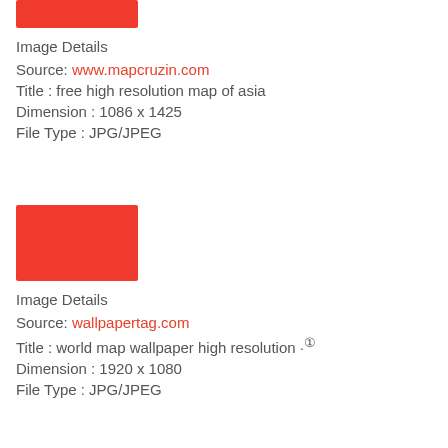[Figure (other): Red rectangle image placeholder for map of asia]
Image Details
Source: www.mapcruzin.com
Title : free high resolution map of asia
Dimension : 1086 x 1425
File Type : JPG/JPEG
[Figure (other): Red rectangle image placeholder for world map wallpaper]
Image Details
Source: wallpapertag.com
Title : world map wallpaper high resolution ·①
Dimension : 1920 x 1080
File Type : JPG/JPEG